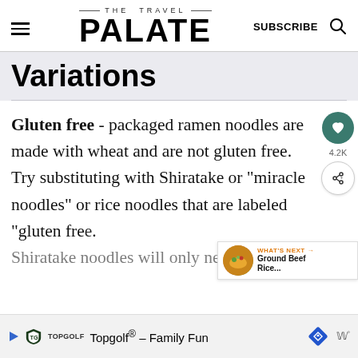THE TRAVEL PALATE — SUBSCRIBE (search icon)
Variations
Gluten free - packaged ramen noodles are made with wheat and are not gluten free. Try substituting with Shiratake or "miracle noodles" or rice noodles that are labeled "gluten free". Shiratake noodles will only need to b...
Topgolf® – Family Fun (ad banner)